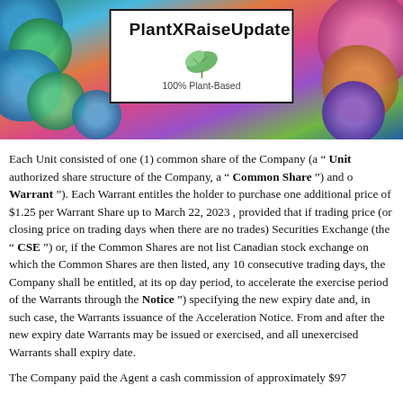[Figure (illustration): PlantXRaiseUpdate banner with colorful succulent flowers background and a white box containing bold text 'PlantXRaiseUpdate' and '100% Plant-Based' with a leaf illustration]
Each Unit consisted of one (1) common share of the Company (a " Unit ") authorized share structure of the Company, a " Common Share ") and one Warrant "). Each Warrant entitles the holder to purchase one additional price of $1.25 per Warrant Share up to March 22, 2023 , provided that if trading price (or closing price on trading days when there are no trades) Securities Exchange (the " CSE ") or, if the Common Shares are not list Canadian stock exchange on which the Common Shares are then listed, any 10 consecutive trading days, the Company shall be entitled, at its op day period, to accelerate the exercise period of the Warrants through the Notice ") specifying the new expiry date and, in such case, the Warrants issuance of the Acceleration Notice. From and after the new expiry date Warrants may be issued or exercised, and all unexercised Warrants shall expiry date.
The Company paid the Agent a cash commission of approximately $970